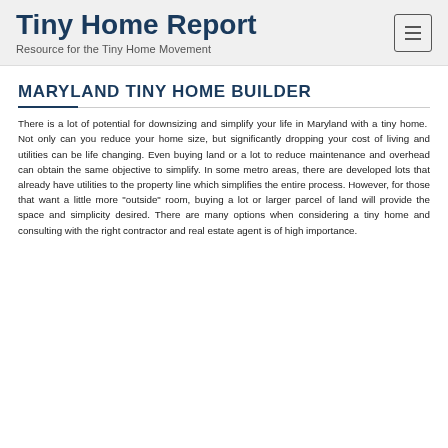Tiny Home Report
Resource for the Tiny Home Movement
MARYLAND TINY HOME BUILDER
There is a lot of potential for downsizing and simplify your life in Maryland with a tiny home.  Not only can you reduce your home size, but significantly dropping your cost of living and utilities can be life changing. Even buying land or a lot to reduce maintenance and overhead can obtain the same objective to simplify. In some metro areas, there are developed lots that already have utilities to the property line which simplifies the entire process. However, for those that want a little more "outside" room, buying a lot or larger parcel of land will provide the space and simplicity desired. There are many options when considering a tiny home and consulting with the right contractor and real estate agent is of high importance.